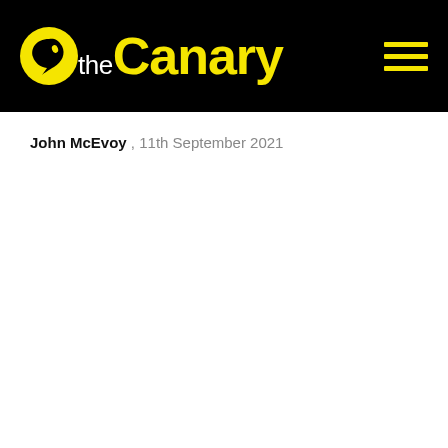the Canary
John McEvoy , 11th September 2021